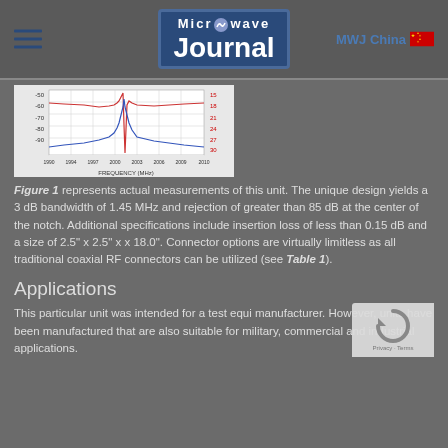Microwave Journal — MWJ China
[Figure (continuous-plot): Line chart showing frequency response measurements with two y-axes. X-axis labeled FREQUENCY (MHz) spanning 1990–2010. Left y-axis shows values from -90 to -50 dB (red curve showing notch filter insertion loss). Right y-axis shows values 15–30 (blue curve showing rejection). Deep notch visible near center frequency around 2000 MHz.]
Figure 1 represents actual measurements of this unit. The unique design yields a 3 dB bandwidth of 1.45 MHz and rejection of greater than 85 dB at the center of the notch. Additional specifications include insertion loss of less than 0.15 dB and a size of 2.5" x 2.5" x x 18.0". Connector options are virtually limitless as all traditional coaxial RF connectors can be utilized (see Table 1).
Applications
This particular unit was intended for a test equi manufacturer. However, units have been manufactured that are also suitable for military, commercial and industrial applications.